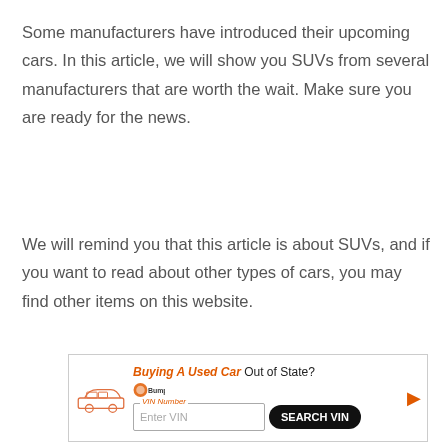Some manufacturers have introduced their upcoming cars. In this article, we will show you SUVs from several manufacturers that are worth the wait. Make sure you are ready for the news.
We will remind you that this article is about SUVs, and if you want to read about other types of cars, you may find other items on this website.
[Figure (infographic): Advertisement banner: Buying A Used Car Out of State? with Bumper logo, VIN Number input field, and SEARCH VIN button, with a car illustration on the left.]